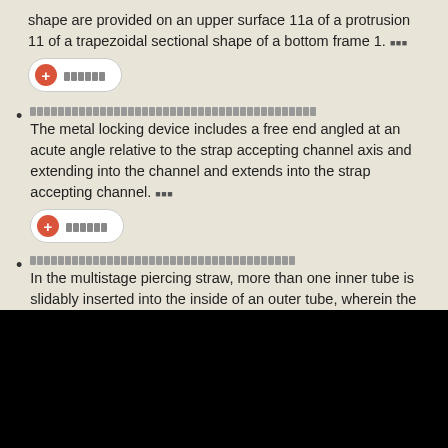shape are provided on an upper surface 11a of a protrusion 11 of a trapezoidal sectional shape of a bottom frame 1. - ■■■
[squares line] The metal locking device includes a free end angled at an acute angle relative to the strap accepting channel axis and extending into the channel and extends into the strap accepting channel. - ■■■
[squares line] In the multistage piercing straw, more than one inner tube is slidably inserted into the inside of an outer tube, wherein the lower end of the outer tube is a sharp piercing part in the longitudinal direction. - ■■■